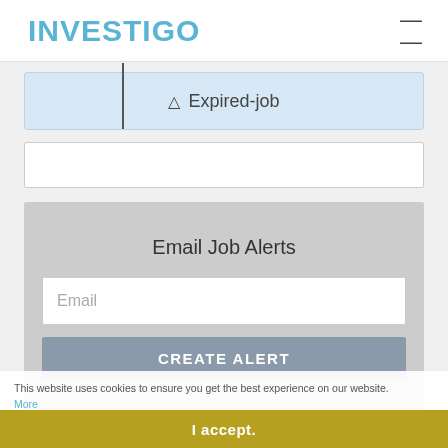INVESTIGO
⚠ Expired-job
Email Job Alerts
Email
CREATE ALERT
This website uses cookies to ensure you get the best experience on our website. More
I accept.